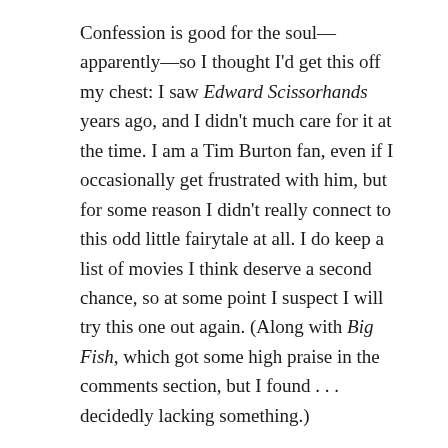Confession is good for the soul—apparently—so I thought I'd get this off my chest: I saw Edward Scissorhands years ago, and I didn't much care for it at the time. I am a Tim Burton fan, even if I occasionally get frustrated with him, but for some reason I didn't really connect to this odd little fairytale at all. I do keep a list of movies I think deserve a second chance, so at some point I suspect I will try this one out again. (Along with Big Fish, which got some high praise in the comments section, but I found . . . decidedly lacking something.)
Tied for a close second place is Beetlejuice and Sleepy Hollow, both of which I enjoyed a tremendous amount. Third place is also a tie between the aforementioned Big Fish and the macabre musical Sweeney Todd: The Demon Barber of Fleet Street. Corpse Bride, Ed Wood, Batman, and Batman Returns all tied for last place with one vote each.